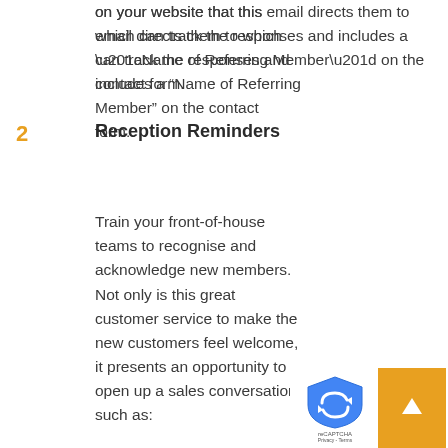on your website that this email directs them to which can track the responses and includes a “Name of Referring Member” on the contact form.
2 Reception Reminders
Reception Reminders
Train your front-of-house teams to recognise and acknowledge new members. Not only is this great customer service to make the new customers feel welcome, it presents an opportunity to open up a sales conversation such as: